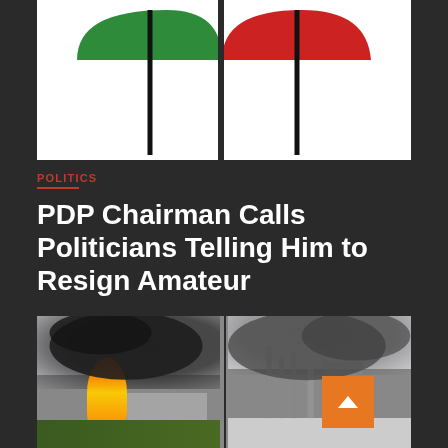[Figure (photo): PDP party logo showing two umbrellas — one green and white, one red and white — on a white background]
POLITICS
PDP Chairman Calls Politicians Telling Him to Resign Amateur
[Figure (photo): Two side-by-side photos of a large fire with black smoke and flames, with industrial structures visible in the background]